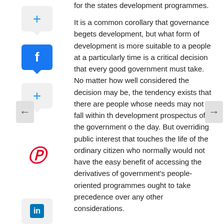for the states development programmes.
It is a common corollary that governance begets development, but what form of development is more suitable to a people at a particularly time is a critical decision that every good government must take. No matter how well considered the decision may be, the tendency exists that there are people whose needs may not fall within the development prospectus of the government of the day. But overriding public interest that touches the life of the ordinary citizen who normally would not have the easy benefit of accessing the derivatives of government's people-oriented programmes ought to take precedence over any other considerations.
CLICK HERE TO DOWNLOAD THREE YEARS OF TOUCHING LIVES PDF